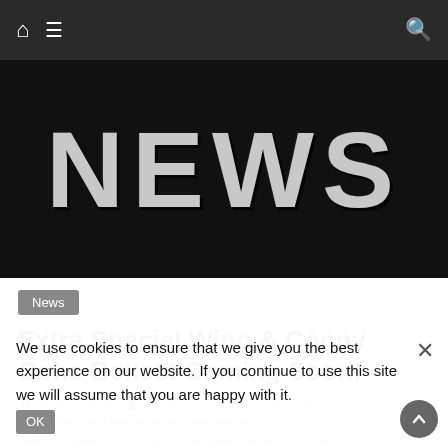Navigation bar with home icon, menu icon, and search icon
[Figure (illustration): NEWS text in large distressed/grunge style white letters on black background banner]
News
Extra Special Wino & Conny Ochs Boxset Coming Soon!
9th March 2012 · Lea Edwards · Conny Ochs, Euro Tour, Labour Of Love, Latitude, ..., News, Scott "Wino" Weinrich, Southern Records, The Sleeping Shaman, Wino, Wino & Conny Ochs
We use cookies to ensure that we give you the best experience on our website. If you continue to use this site we will assume that you are happy with it. OK ×